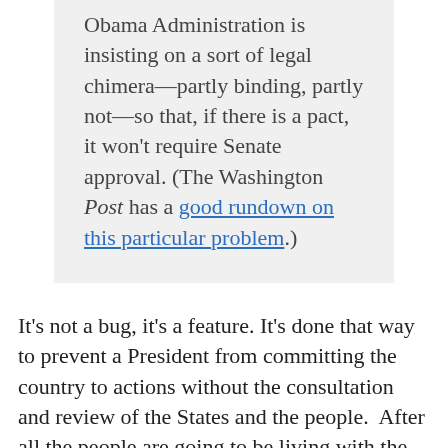Obama Administration is insisting on a sort of legal chimera—partly binding, partly not—so that, if there is a pact, it won't require Senate approval. (The Washington Post has a good rundown on this particular problem.)
It's not a bug, it's a feature. It's done that way to prevent a President from committing the country to actions without the consultation and review of the States and the people.  After all the people are going to be living with the